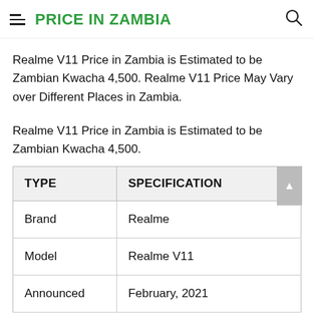PRICE IN ZAMBIA
Realme V11 Price in Zambia is Estimated to be Zambian Kwacha 4,500. Realme V11 Price May Vary over Different Places in Zambia.
Realme V11 Price in Zambia is Estimated to be Zambian Kwacha 4,500.
| TYPE | SPECIFICATION |
| --- | --- |
| Brand | Realme |
| Model | Realme V11 |
| Announced | February, 2021 |